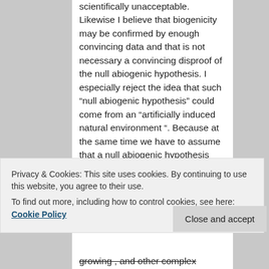scientifically unacceptable. Likewise I believe that biogenicity may be confirmed by enough convincing data and that is not necessary a convincing disproof of the null abiogenic hypothesis. I especially reject the idea that such “null abiogenic hypothesis” could come from an “artificially induced natural environment “. Because at the same time we have to assume that a null abiogenic hypothesis should be associated to a disproof of the null biogenic
Privacy & Cookies: This site uses cookies. By continuing to use this website, you agree to their use.
To find out more, including how to control cookies, see here: Cookie Policy
growing , and other complex